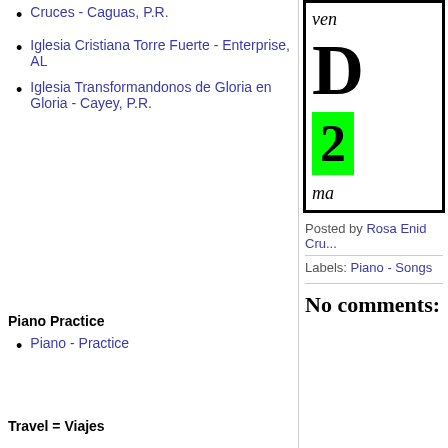Cruces - Caguas, P.R.
Iglesia Cristiana Torre Fuerte - Enterprise, AL
Iglesia Transformandonos de Gloria en Gloria - Cayey, P.R.
[Figure (other): Sidebar box with italic text 'ven', large bold letter 'D', green box with number '2', italic text 'ma']
Posted by Rosa Enid Cru...
Labels: Piano - Songs
Piano Practice
Piano - Practice
Travel = Viajes
No comments: